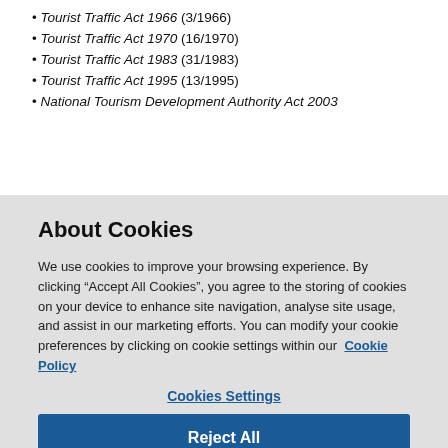Tourist Traffic Act 1966 (3/1966)
Tourist Traffic Act 1970 (16/1970)
Tourist Traffic Act 1983 (31/1983)
Tourist Traffic Act 1995 (13/1995)
National Tourism Development Authority Act 2003
About Cookies
We use cookies to improve your browsing experience. By clicking “Accept All Cookies”, you agree to the storing of cookies on your device to enhance site navigation, analyse site usage, and assist in our marketing efforts. You can modify your cookie preferences by clicking on cookie settings within our  Cookie Policy
Cookies Settings
Reject All
Accept All Cookies